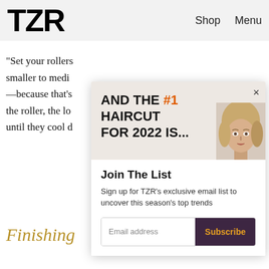TZR   Shop   Menu
"Set your rollers smaller to medi —because that's the roller, the lo until they cool d
[Figure (screenshot): Popup overlay with ad banner reading 'AND THE #1 HAIRCUT FOR 2022 IS...' with woman's photo, and email signup section 'Join The List' with email address input and Subscribe button]
Finishing